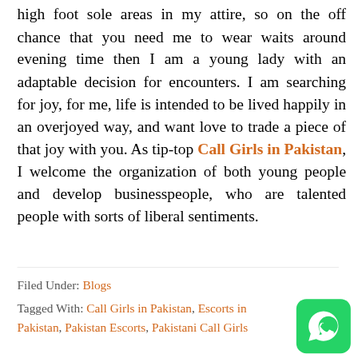high foot sole areas in my attire, so on the off chance that you need me to wear waits around evening time then I am a young lady with an adaptable decision for encounters. I am searching for joy, for me, life is intended to be lived happily in an overjoyed way, and want love to trade a piece of that joy with you. As tip-top Call Girls in Pakistan, I welcome the organization of both young people and develop businesspeople, who are talented people with sorts of liberal sentiments.
Filed Under: Blogs
Tagged With: Call Girls in Pakistan, Escorts in Pakistan, Pakistan Escorts, Pakistani Call Girls